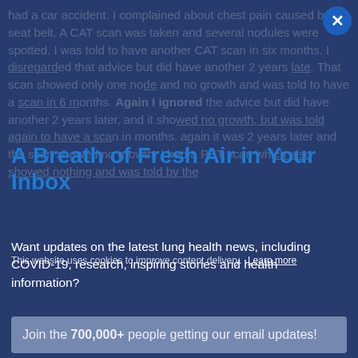had a car accident. I complained about chest pain caused by the seat belt. A CAT scan was taken and several nodules were spotted. I was told to have another CAT scan in six months. I disregarded that advice but did have another 2 years late. That scan showed only one node and no growth and was told to have a scan in 6 months. Again I ignored the advice but did have another 2 years later, and it showed no growth, but was told again to have a scan in months. Again it was 2 years later and the scan showed no growth. I had a PET scan which also showed nothing and was told by the
A Breath of Fresh Air in Your Inbox
Want updates on the latest lung health news, including COVID-19, research, inspiring stories and health information?
This website uses cookies to improve content delivery. Learn more
Join the 700,000+ people getting our email updates!